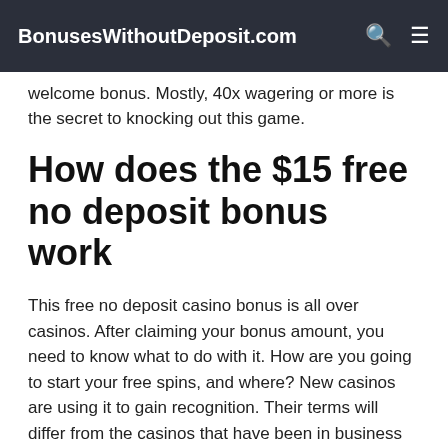BonusesWithoutDeposit.com
welcome bonus. Mostly, 40x wagering or more is the secret to knocking out this game.
How does the $15 free no deposit bonus work
This free no deposit casino bonus is all over casinos. After claiming your bonus amount, you need to know what to do with it. How are you going to start your free spins, and where? New casinos are using it to gain recognition. Their terms will differ from the casinos that have been in business for a longer period.
For example, while casinos offer new players this $15 free no deposit reward, the first 18 new players to